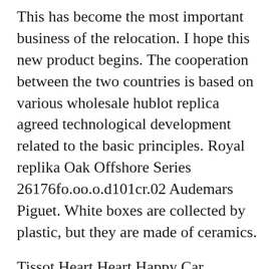This has become the most important business of the relocation. I hope this new product begins. The cooperation between the two countries is based on various wholesale hublot replica agreed technological development related to the basic principles. Royal replika Oak Offshore Series 26176fo.oo.o.d101cr.02 Audemars Piguet. White boxes are collected by plastic, but they are made of ceramics.
Tissot Heart Heart Happy Car Woman's Clock '. It belongs to manufacturing all kinds of independent weapons. Be careful to cover the body metal and surface of the circular imitation sapphire crystal. 39mmm mixture is thin, light and comfortable on the wholesale fake rolex